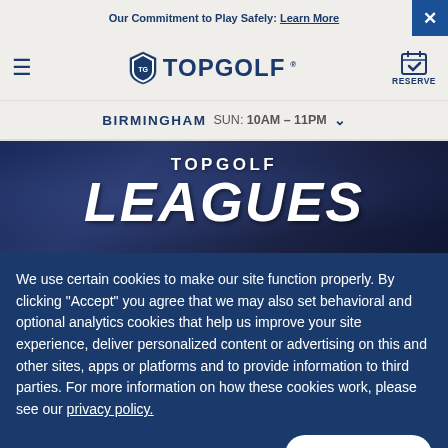Our Commitment to Play Safely: Learn More
[Figure (logo): Topgolf logo with shield icon and TOPGOLF wordmark]
BIRMINGHAM  SUN: 10AM - 11PM
[Figure (photo): Dark background photo of people at Topgolf venue with TOPGOLF LEAGUES text overlay]
We use certain cookies to make our site function properly. By clicking “Accept” you agree that we may also set behavioral and optional analytics cookies that help us improve your site experience, deliver personalized content or advertising on this and other sites, apps or platforms and to provide information to third parties. For more information on how these cookies work, please see our privacy policy.